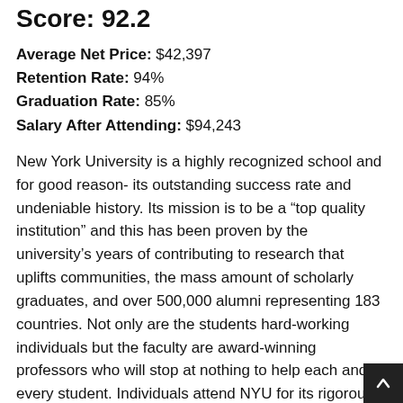Score: 92.2
Average Net Price: $42,397
Retention Rate: 94%
Graduation Rate: 85%
Salary After Attending: $94,243
New York University is a highly recognized school and for good reason- its outstanding success rate and undeniable history. Its mission is to be a “top quality institution” and this has been proven by the university’s years of contributing to research that uplifts communities, the mass amount of scholarly graduates, and over 500,000 alumni representing 183 countries. Not only are the students hard-working individuals but the faculty are award-winning professors who will stop at nothing to help each and every student. Individuals attend NYU for its rigorous workload and high payout for completing challenging degrees. A few of the majors students choose are cardiac surgery, architecture